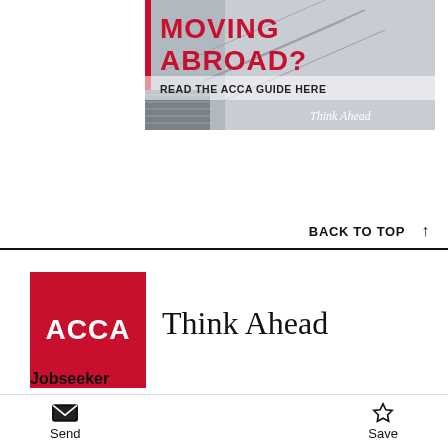[Figure (screenshot): ACCA advertisement banner: 'MOVING ABROAD? READ THE ACCA GUIDE HERE' with 'Think Ahead' tagline on dark aircraft background]
BACK TO TOP ↑
[Figure (logo): ACCA red square logo with white text 'ACCA']
Think Ahead
Jobseeker
Send   Save